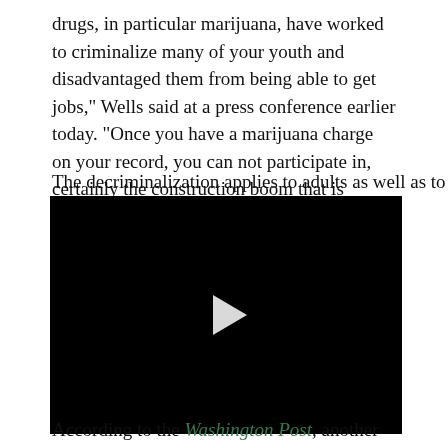drugs, in particular marijuana, have worked to criminalize many of your youth and disadvantaged them from being able to get jobs," Wells said at a press conference earlier today. “Once you have a marijuana charge on your record, you can not participate in, certainly the construction boom that is happening all over the city, and it works to stigmatize people … and it disadvantages them from jobs."
The decriminalization applies to adults as well as to
[Figure (screenshot): Black video player with a white play button triangle in the center]
According to the Washington Post, another D.C. council